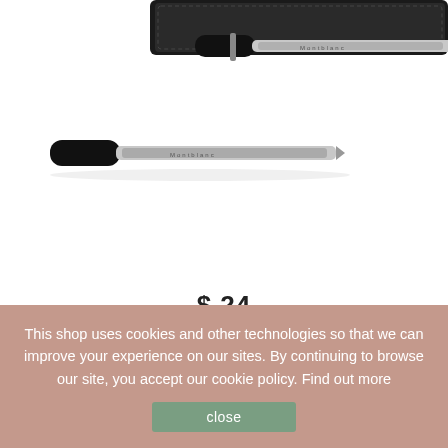[Figure (photo): Product photo of Montblanc 116189 ballpoint pen refills in a black case, showing two pen refills with black caps and clear/silver ink tubes]
$ 24
MONTBLANC 116189 BALLPOINT PEN...
This shop uses cookies and other technologies so that we can improve your experience on our sites. By continuing to browse our site, you accept our cookie policy. Find out more
close